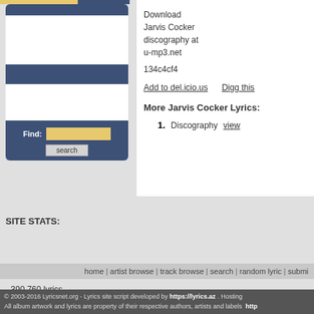[Figure (screenshot): Left sidebar navigation widget with dark blue rounded box, white content area, find input field with gold/yellow background, and search button]
Download Jarvis Cocker discography at u-mp3.net
134c4cf4
Add to del.icio.us    Digg this
More Jarvis Cocker Lyrics:
1.  Discography  view
SITE STATS:
- 390,760 lyrics
- 24,428 artists
home | artist browse | track browse | search | random lyric | submi
© 2003-2016 Lyricsnet.org - Lyrics site script developed by https://lyrics.az . Hosting
All album artwork and lyrics are property of their respective authors, artists and labels  http